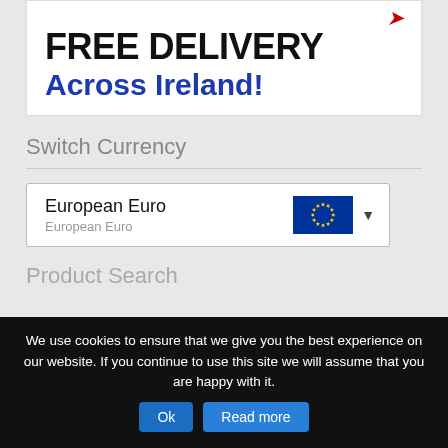[Figure (illustration): Promotional banner with red swoosh graphic at top, bold black text 'FREE DELIVERY' and blue bold text 'Across Ireland!' on white background]
Switch Currency
[Figure (screenshot): Currency selector dropdown showing 'European Euro' with EU flag and dropdown arrow]
Product Search
We use cookies to ensure that we give you the best experience on our website. If you continue to use this site we will assume that you are happy with it.